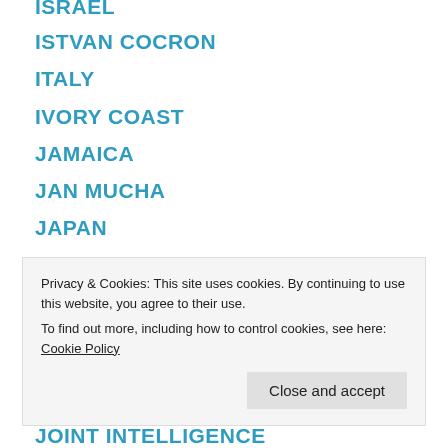ISRAEL
ISTVAN COCRON
ITALY
IVORY COAST
JAMAICA
JAN MUCHA
JAPAN
JEFFREY EPSTEIN
JOCHEN RESCH
JOE BIDEN
Privacy & Cookies: This site uses cookies. By continuing to use this website, you agree to their use.
To find out more, including how to control cookies, see here: Cookie Policy
JOINT INTELLIGENCE